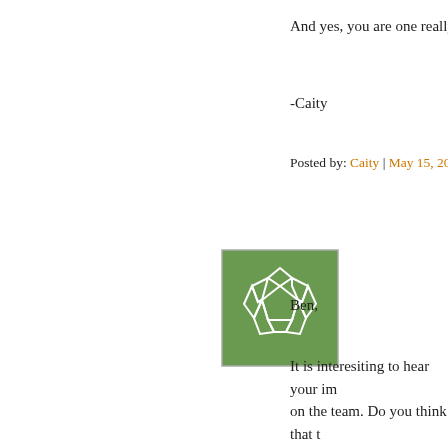And yes, you are one really han
-Caity
Posted by: Caity | May 15, 2005 at 05
[Figure (illustration): Green soccer ball / polygon avatar icon]
Ben,
It is interesiting to hear your im on the team. Do you think that t the TE the way they should, or a 6'5" guy like that just to block f I was really sorry to see that we to his full potential (AT LEAST DID)and I don't know what to th I think you pups about 6 months I just finished my classes at the Institute at Findlay and have jus traning, while I was there I saw the Subway by the o way(you